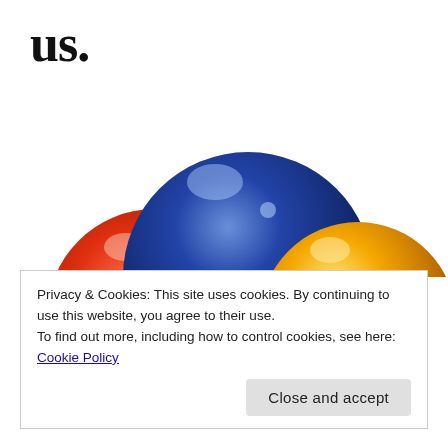us.
[Figure (photo): Three exercise/stability balls arranged together: a red ball on the left, a large blue ball in the center with small black stand legs, and an orange/yellow ball on the right, on a white background.]
Privacy & Cookies: This site uses cookies. By continuing to use this website, you agree to their use.
To find out more, including how to control cookies, see here: Cookie Policy
Close and accept